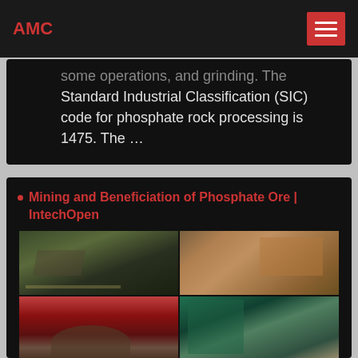AMC
some operations, and grinding. The Standard Industrial Classification (SIC) code for phosphate rock processing is 1475. The ...
Mining and Beneficiation of Phosphate Ore | IntechOpen
[Figure (photo): Four-panel photo collage showing phosphate mining and beneficiation operations: top-left shows open pit mining with conveyor belts and heavy equipment; top-right shows industrial processing machinery in orange/brown colors; bottom-left shows red industrial structures with ore piles; bottom-right shows green industrial processing equipment and conveyors.]
2016-1-8 · The first commercial